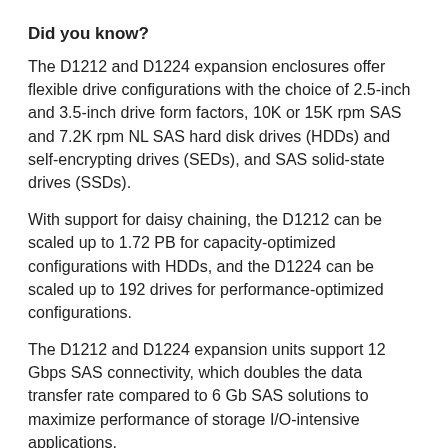Did you know?
The D1212 and D1224 expansion enclosures offer flexible drive configurations with the choice of 2.5-inch and 3.5-inch drive form factors, 10K or 15K rpm SAS and 7.2K rpm NL SAS hard disk drives (HDDs) and self-encrypting drives (SEDs), and SAS solid-state drives (SSDs).
With support for daisy chaining, the D1212 can be scaled up to 1.72 PB for capacity-optimized configurations with HDDs, and the D1224 can be scaled up to 192 drives for performance-optimized configurations.
The D1212 and D1224 expansion units support 12 Gbps SAS connectivity, which doubles the data transfer rate compared to 6 Gb SAS solutions to maximize performance of storage I/O-intensive applications.
Key features
Key features and benefits provided by the D1212 and D1224 storage expansion enclosures include:
Versatile, scalable storage expansion with dual
Enclosure networking Module (ECM) configurations of